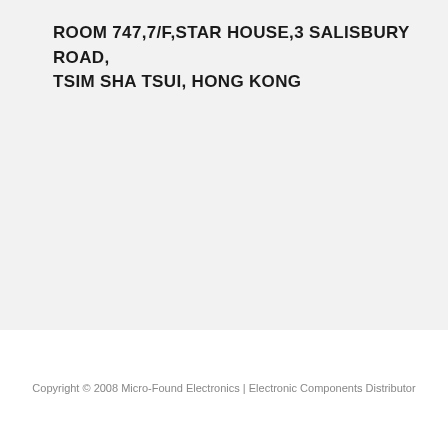ROOM 747,7/F,STAR HOUSE,3 SALISBURY ROAD,
TSIM SHA TSUI, HONG KONG
Copyright © 2008 Micro-Found Electronics | Electronic Components Distributor